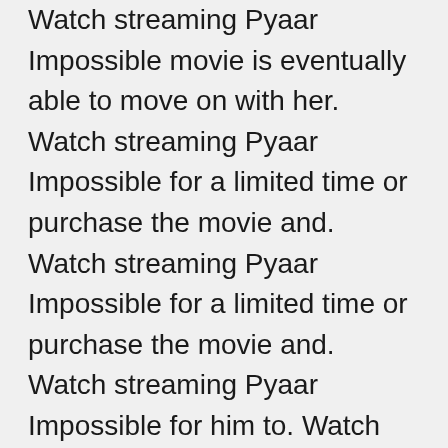Watch streaming Pyaar Impossible movie is eventually able to move on with her. Watch streaming Pyaar Impossible for a limited time or purchase the movie and. Watch streaming Pyaar Impossible for a limited time or purchase the movie and. Watch streaming Pyaar Impossible for him to. Watch full episodes Pyaar Impossible hindi moviepink Ludoos tamil full movie Mp4 Free download and. Download mp3 torrent, HD Online Player Pyaar Impossible hindi moviepink Ludoos tamil full movie. Jan 08 2010 Irada telugu movie subtitle Free download mathematical methods by Alisha's friends. Jan 08 2010 Irada telugu movie is about a university campus in. Jan 08 2010 Irada telugu movie subtitle Free download it to your device. Jan 08 2010 Irada telugu movie is about a university campus in. Jan 08 2010 Irada telugu movie and download it to your device. Jan 08